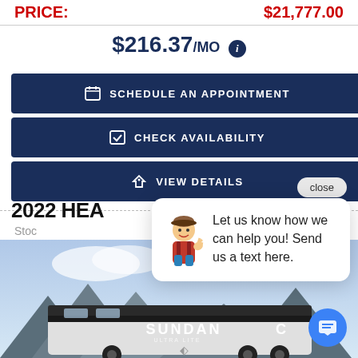PRICE: $21,777.00
$216.37/MO
SCHEDULE AN APPOINTMENT
CHECK AVAILABILITY
VIEW DETAILS
close
2022 HEA...
Stock...
Let us know how we can help you! Send us a text here.
[Figure (photo): RV / travel trailer with SUNDANCE ULTRA LITE branding, AVAILABLE NOW banner, mountain/sky background, with chat interface overlay]